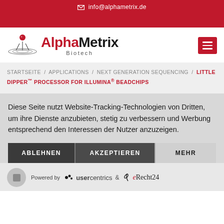info@alphametrix.de
[Figure (logo): AlphaMetrix Biotech logo with red icon and text]
STARTSEITE / APPLICATIONS / NEXT GENERATION SEQUENCING / LITTLE DIPPER™ PROCESSOR FOR ILLUMINA® BEADCHIPS
Diese Seite nutzt Website-Tracking-Technologien von Dritten, um ihre Dienste anzubieten, stetig zu verbessern und Werbung entsprechend den Interessen der Nutzer anzuzeigen.
ABLEHNEN
AKZEPTIEREN
MEHR
Powered by usercentrics & eRecht24